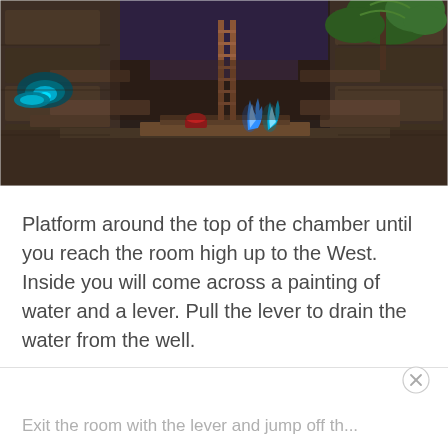[Figure (screenshot): In-game screenshot of a stylized stone chamber with colorful glowing flames/spirits in the center, stone platforms, a ladder in the background, tropical plants in the upper right, and cyan/teal glowing elements on the left side.]
Platform around the top of the chamber until you reach the room high up to the West. Inside you will come across a painting of water and a lever. Pull the lever to drain the water from the well.
Exit the room with the lever and jump off th...